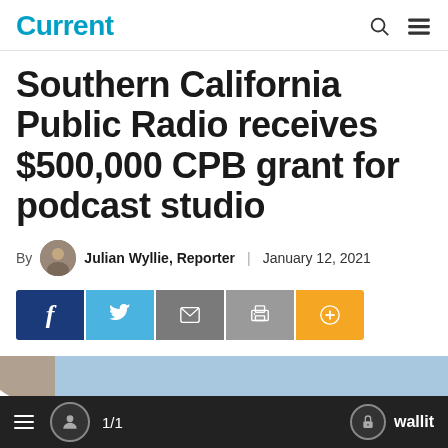Current
Southern California Public Radio receives $500,000 CPB grant for podcast studio
By Julian Wyllie, Reporter | January 12, 2021
[Figure (other): Social sharing bar with Facebook, Twitter, email, print, and plus buttons]
[Figure (photo): Partial image visible at bottom of article]
1/1  wallit